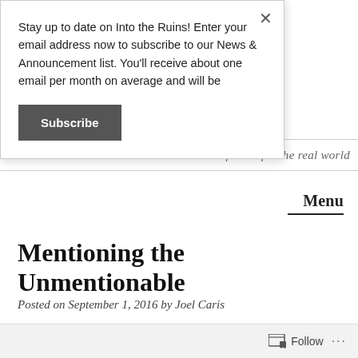Stay up to date on Into the Ruins! Enter your email address now to subscribe to our News & Announcement list. You'll receive about one email per month on average and will be
Subscribe
science fiction for the real world
Menu
Mentioning the Unmentionable
Posted on September 1, 2016 by Joel Caris
Follow ...